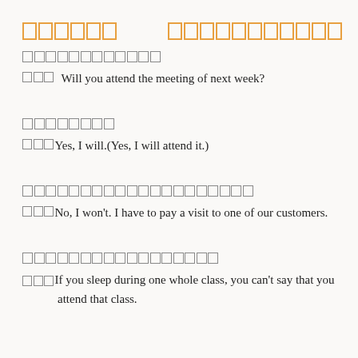[CJK boxes] [CJK boxes]
[CJK boxes - label]
[CJK] Will you attend the meeting of next week?
[CJK boxes - label]
[CJK]Yes, I will.(Yes, I will attend it.)
[CJK boxes - label]
[CJK]No, I won't. I have to pay a visit to one of our customers.
[CJK boxes - label]
[CJK]If you sleep during one whole class, you can't say that you attend that class.